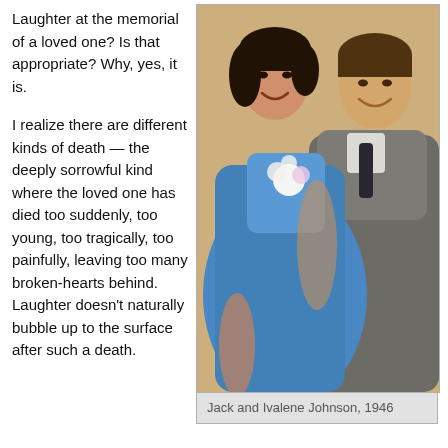Laughter at the memorial of a loved one? Is that appropriate? Why, yes, it is.
I realize there are different kinds of death — the deeply sorrowful kind where the loved one has died too suddenly, too young, too tragically, too painfully, leaving too many broken-hearts behind. Laughter doesn't naturally bubble up to the surface after such a death.
[Figure (photo): Vintage colorized photograph of a couple, Jack and Ivalene Johnson, posing together in 1946. The woman wears a blue dress with a white flower corsage; the man wears a gray suit.]
Jack and Ivalene Johnson, 1946
And then there's the kind, as in mom-in-law's case, where the loved one has lived a good full life, and look at how many people she loved and influenced and taught and nurtured